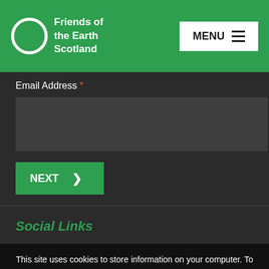[Figure (logo): Friends of the Earth Scotland logo — white circle outline with white bold text]
Friends of the Earth Scotland — MENU
Email Address *
NEXT ›
Social Links
This site uses cookies to store information on your computer. To find out how we use them please view our Privacy Policy.
Accept All   No Thanks